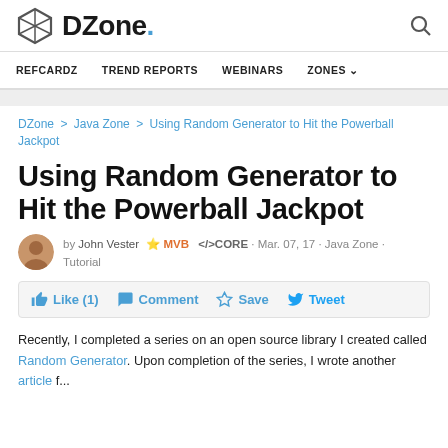DZone. [logo] REFCARDZ  TREND REPORTS  WEBINARS  ZONES
DZone > Java Zone > Using Random Generator to Hit the Powerball Jackpot
Using Random Generator to Hit the Powerball Jackpot
by John Vester MVB </>CORE · Mar. 07, 17 · Java Zone · Tutorial
Like (1)  Comment  Save  Tweet
Recently, I completed a series on an open source library I created called Random Generator. Upon completion of the series, I wrote another article f...